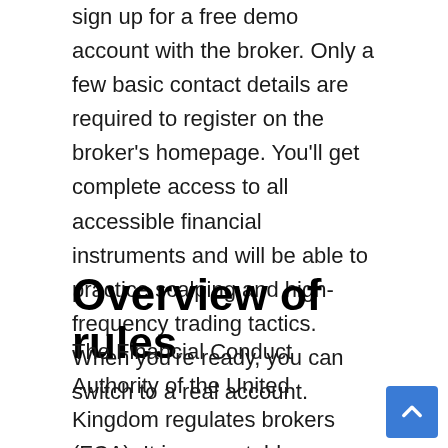sign up for a free demo account with the broker. Only a few basic contact details are required to register on the broker's homepage. You'll get complete access to all accessible financial instruments and will be able to practice scalping and high-frequency trading tactics. When you're ready, you can switch to a real account.
Overview of rules
The Financial Conduct Authority of the United Kingdom regulates brokers (FCA). It is a reputable regulatory agency with high requirements. Segregated accounts, negative balance protection, and limited retail leverage are all advantages for clients. Third-party audits